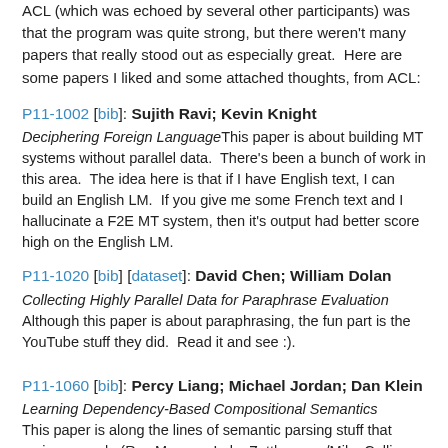ACL (which was echoed by several other participants) was that the program was quite strong, but there weren't many papers that really stood out as especially great.  Here are some papers I liked and some attached thoughts, from ACL:
P11-1002 [bib]: Sujith Ravi; Kevin Knight
Deciphering Foreign LanguageThis paper is about building MT systems without parallel data.  There's been a bunch of work in this area.  The idea here is that if I have English text, I can build an English LM.  If you give me some French text and I hallucinate a F2E MT system, then it's output had better score high on the English LM.
P11-1020 [bib] [dataset]: David Chen; William Dolan
Collecting Highly Parallel Data for Paraphrase Evaluation
Although this paper is about paraphrasing, the fun part is the YouTube stuff they did.  Read it and see :).
P11-1060 [bib]: Percy Liang; Michael Jordan; Dan Klein
Learning Dependency-Based Compositional Semantics
This paper is along the lines of semantic parsing stuff that various people (Ray Mooney, Luke Zettlemoyer/Mike Collins...